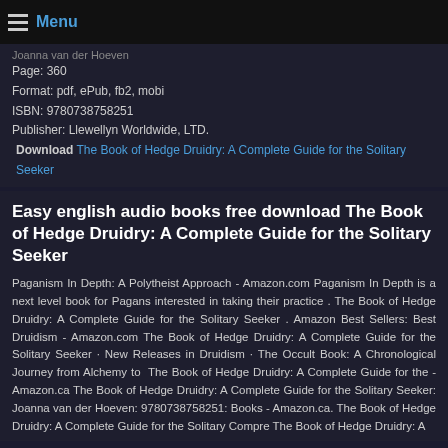Menu
Joanna van der Hoeven
Page: 360
Format: pdf, ePub, fb2, mobi
ISBN: 9780738758251
Publisher: Llewellyn Worldwide, LTD.
Download The Book of Hedge Druidry: A Complete Guide for the Solitary Seeker
Easy english audio books free download The Book of Hedge Druidry: A Complete Guide for the Solitary Seeker
Paganism In Depth: A Polytheist Approach - Amazon.com Paganism In Depth is a next level book for Pagans interested in taking their practice . The Book of Hedge Druidry: A Complete Guide for the Solitary Seeker . Amazon Best Sellers: Best Druidism - Amazon.com The Book of Hedge Druidry: A Complete Guide for the Solitary Seeker · New Releases in Druidism · The Occult Book: A Chronological Journey from Alchemy to  The Book of Hedge Druidry: A Complete Guide for the - Amazon.ca The Book of Hedge Druidry: A Complete Guide for the Solitary Seeker: Joanna van der Hoeven: 9780738758251: Books - Amazon.ca. The Book of Hedge Druidry: A Complete Guide for the Solitary Compre The Book of Hedge Druidry: A